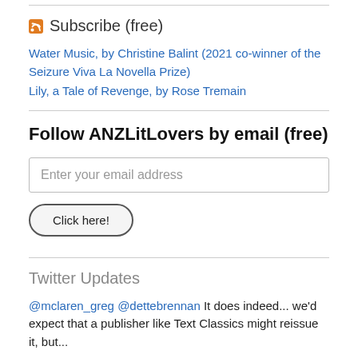Subscribe (free)
Water Music, by Christine Balint (2021 co-winner of the Seizure Viva La Novella Prize)
Lily, a Tale of Revenge, by Rose Tremain
Follow ANZLitLovers by email (free)
Enter your email address
Click here!
Twitter Updates
@mclaren_greg @dettebrennan It does indeed... we'd expect that a publisher like Text Classics might reissue it, but...